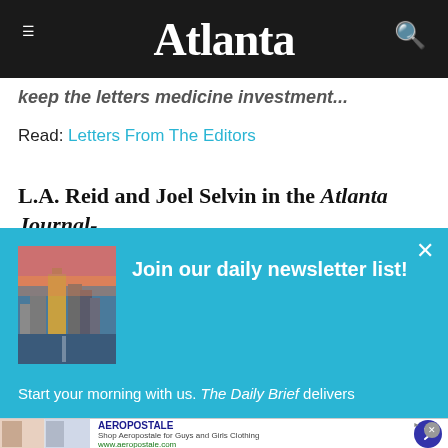Atlanta
keep the letters medicine investment.
Read: Letters From The Editors
L.A. Reid and Joel Selvin in the Atlanta Journal-
[Figure (infographic): Newsletter signup overlay with Atlanta skyline image and text: Join our daily newsletter list! Start your morning with us. The Daily Brief delivers]
[Figure (infographic): Advertisement for Aeropostale: Shop Aeropostale for Guys and Girls Clothing, www.aeropostale.com]